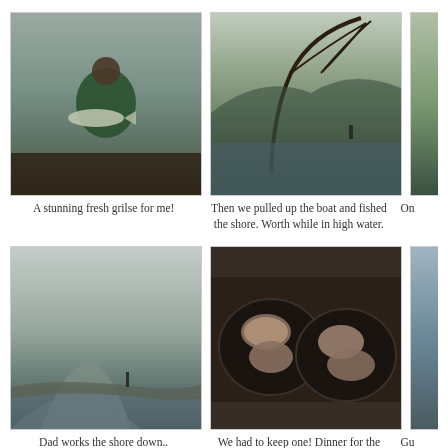[Figure (photo): Man in a boat holding a large fresh salmon/grilse, wearing green jacket and cap, misty lake in background]
A stunning fresh grilse for me!
[Figure (photo): Scenic landscape with windswept tree, lake and mountains in background, figure near water]
Then we pulled up the boat and fished the shore. Worth while in high water.
[Figure (photo): Partial view of photo at right edge, cut off]
On
[Figure (photo): Person fishing on the shore of a misty mountain lake, grey skies and mountain reflected in water]
Dad works the shore down..
[Figure (photo): Fish fillets cooking in frying pans on a camp stove or stovetop, salmon steaks]
We had to keep one! Dinner for the family..
[Figure (photo): Partial photo at right edge, partially cut off]
Gu